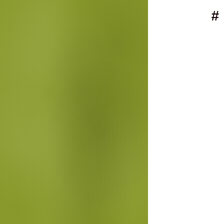[Figure (photo): Olive/yellow-green textured background panel on the left side of the page, taking up approximately two-thirds of the page width. The texture resembles mottled plaster or aged paper with subtle variations in color and vertical stripe-like patterns.]
#
Most people would a equip them better fa relate to people bet approach certain har Failures in parenting failures impart a wise